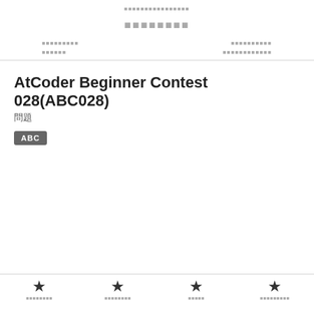AtCoder Beginner Contest 028(ABC028)
AtCoder Beginner Contest 028(ABC028)
問題
ABC